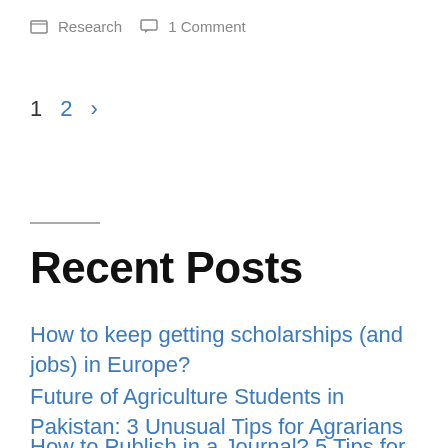Research   1 Comment
1   2   ›
Recent Posts
How to keep getting scholarships (and jobs) in Europe?
Future of Agriculture Students in Pakistan: 3 Unusual Tips for Agrarians
How to Publish in a Journal? 5 Tips for